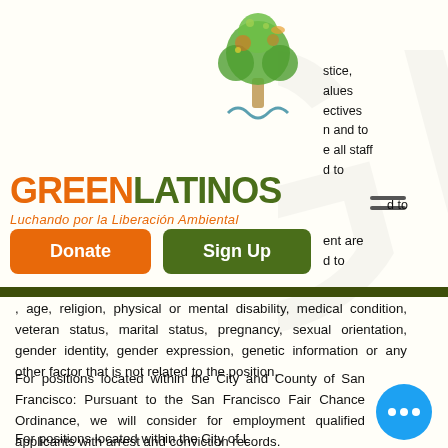[Figure (logo): GreenLatinos tree illustration logo — colorful tree with animals and plants in green, orange, blue tones]
stice, alues ectives n and to e all staff d to ent are d to , age,
GREENLATINOS Luchando por la Liberación Ambiental
[Figure (other): Hamburger/menu icon — two horizontal lines]
Donate  Sign Up  nt are d to
, age, religion, physical or mental disability, medical condition, veteran status, marital status, pregnancy, sexual orientation, gender identity, gender expression, genetic information or any other factor that is not related to the position.
For positions located within the City and County of San Francisco: Pursuant to the San Francisco Fair Chance Ordinance, we will consider for employment qualified applicants with arrest and conviction records.
For positions located within the City of Los Angeles: We will consider qualified applicants with criminal histories in a manner consistent